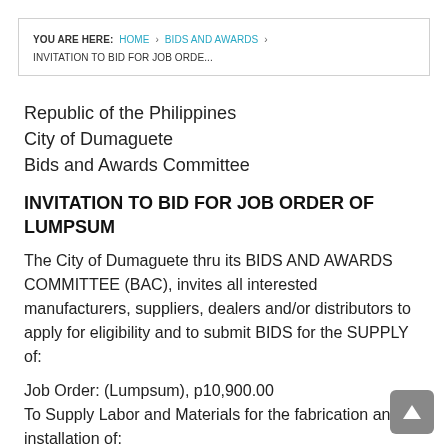YOU ARE HERE: HOME › BIDS AND AWARDS › INVITATION TO BID FOR JOB ORDE...
Republic of the Philippines
City of Dumaguete
Bids and Awards Committee
INVITATION TO BID FOR JOB ORDER OF LUMPSUM
The City of Dumaguete thru its BIDS AND AWARDS COMMITTEE (BAC), invites all interested manufacturers, suppliers, dealers and/or distributors to apply for eligibility and to submit BIDS for the SUPPLY of:
Job Order: (Lumpsum), p10,900.00
To Supply Labor and Materials for the fabrication and installation of: